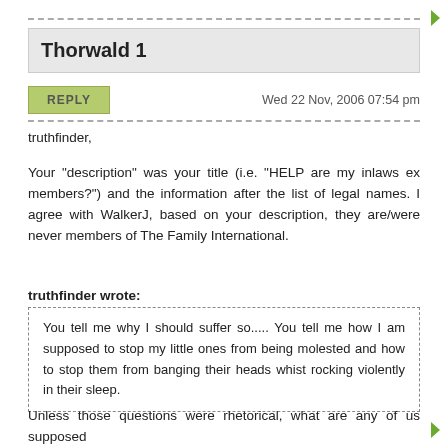Thorwald 1
REPLY   Wed 22 Nov, 2006 07:54 pm
truthfinder,

Your "description" was your title (i.e. "HELP are my inlaws ex members?") and the information after the list of legal names. I agree with WalkerJ, based on your description, they are/were never members of The Family International.
truthfinder wrote:
You tell me why I should suffer so..... You tell me how I am supposed to stop my little ones from being molested and how to stop them from banging their heads whist rocking violently in their sleep.
Unless those questions were rhetorical, what are any of us supposed